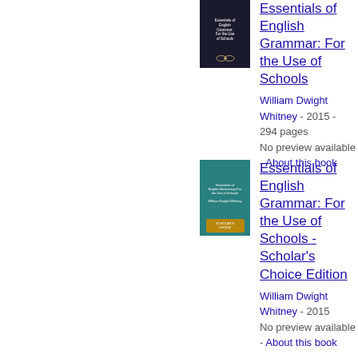[Figure (photo): Dark navy book cover for Essentials of English Grammar with laurel wreath emblem]
Essentials of English Grammar: For the Use of Schools
William Dwight Whitney - 2015 - 294 pages
No preview available - About this book
[Figure (photo): Teal book cover for Essentials of English Grammar: Scholar's Choice Edition with Scholar's Choice badge]
Essentials of English Grammar: For the Use of Schools - Scholar's Choice Edition
William Dwight Whitney - 2015
No preview available - About this book